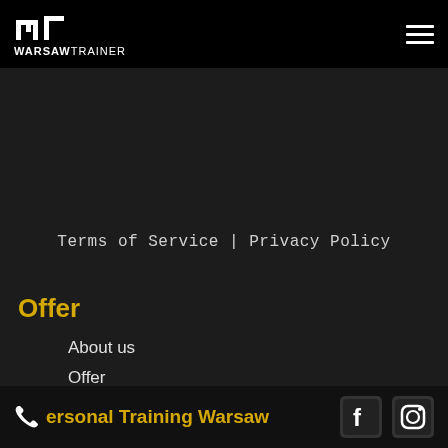WARSAW TRAINER
Terms of Service | Privacy Policy
Offer
About us
Offer
Price
FAQ
Contact
Personal Training Warsaw